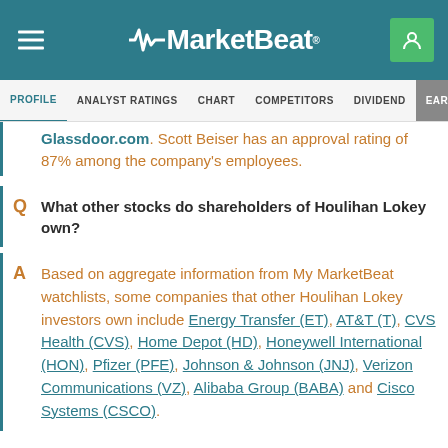MarketBeat — navigation header with logo and menu items: PROFILE, ANALYST RATINGS, CHART, COMPETITORS, DIVIDEND, EARNINGS
Glassdoor.com. Scott Beiser has an approval rating of 87% among the company's employees.
Q  What other stocks do shareholders of Houlihan Lokey own?
A  Based on aggregate information from My MarketBeat watchlists, some companies that other Houlihan Lokey investors own include Energy Transfer (ET), AT&T (T), CVS Health (CVS), Home Depot (HD), Honeywell International (HON), Pfizer (PFE), Johnson & Johnson (JNJ), Verizon Communications (VZ), Alibaba Group (BABA) and Cisco Systems (CSCO).